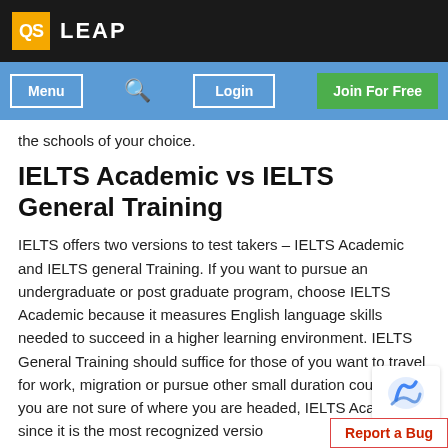QS LEAP
[Figure (screenshot): Navigation bar with Menu button, search icon, Login button, and Join For Free green button on blue background]
the schools of your choice.
IELTS Academic vs IELTS General Training
IELTS offers two versions to test takers – IELTS Academic and IELTS general Training. If you want to pursue an undergraduate or post graduate program, choose IELTS Academic because it measures English language skills needed to succeed in a higher learning environment. IELTS General Training should suffice for those of you want to travel for work, migration or pursue other small duration courses. If you are not sure of where you are headed, IELTS Academic since it is the most recognized versio test.